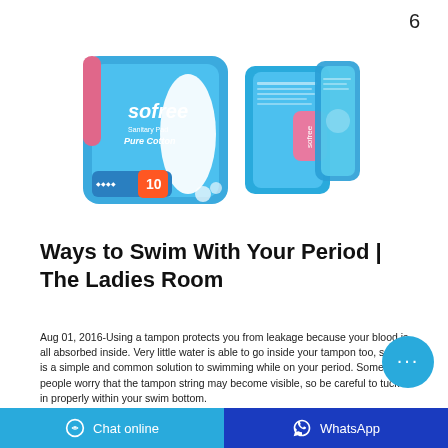6
[Figure (photo): Two images of Sofree Sanitary Pad Pure Cotton product packaging: one showing the front of the blue package (count: 10) and one showing the back/side of the same blue package.]
Ways to Swim With Your Period | The Ladies Room
Aug 01, 2016-Using a tampon protects you from leakage because your blood is all absorbed inside. Very little water is able to go inside your tampon too, so this is a simple and common solution to swimming while on your period. Some people worry that the tampon string may become visible, so be careful to tuck it in properly within your swim bottom.
Chat online   WhatsApp